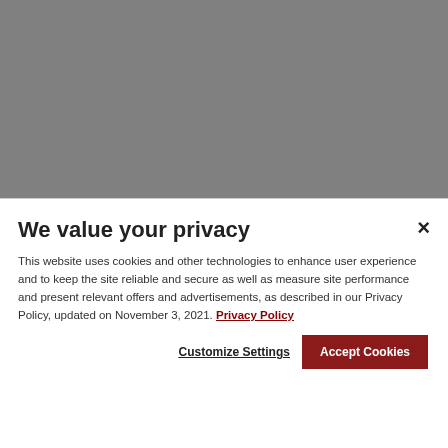[Figure (photo): Gray background image, no visible content]
We value your privacy
This website uses cookies and other technologies to enhance user experience and to keep the site reliable and secure as well as measure site performance and present relevant offers and advertisements, as described in our Privacy Policy, updated on November 3, 2021. Privacy Policy